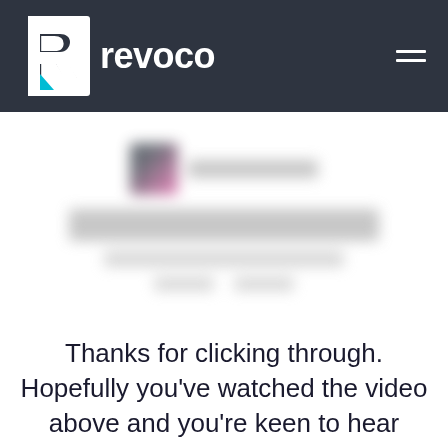[Figure (logo): Revoco company logo with R icon and hamburger menu on dark navy navigation bar]
[Figure (screenshot): Blurred social media or video embed section with blurred profile image, name, title and engagement stats]
Thanks for clicking through. Hopefully you've watched the video above and you're keen to hear more about our